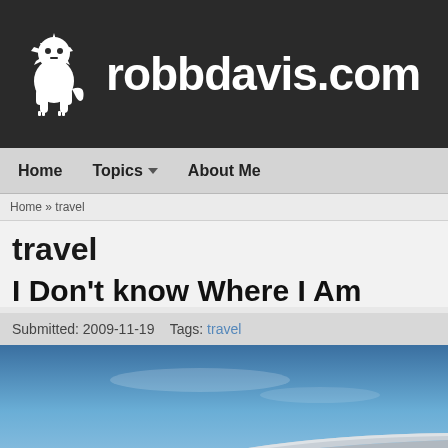robbdavis.com
Home   Topics   About Me
Home » travel
travel
I Don't know Where I Am
Submitted: 2009-11-19    Tags: travel
[Figure (photo): Airplane wing viewed from window against a blue sky]